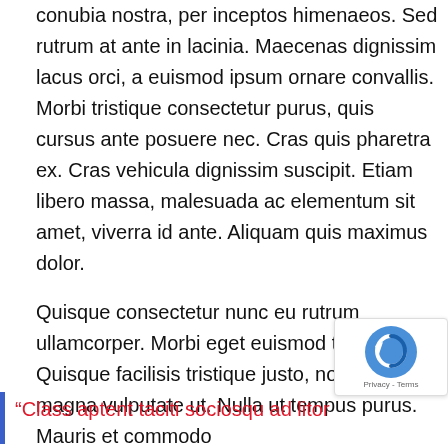conubia nostra, per inceptos himenaeos. Sed rutrum at ante in lacinia. Maecenas dignissim lacus orci, a euismod ipsum ornare convallis. Morbi tristique consectetur purus, quis cursus ante posuere nec. Cras quis pharetra ex. Cras vehicula dignissim suscipit. Etiam libero massa, malesuada ac elementum sit amet, viverra id ante. Aliquam quis maximus dolor.
Quisque consectetur nunc eu rutrum ullamcorper. Morbi eget euismod tellus. Quisque facilisis tristique justo, non congue magna vulputate ut. Nulla ut tempus purus. Mauris et commodo
“Class aptent taciti sociosqu ad litor